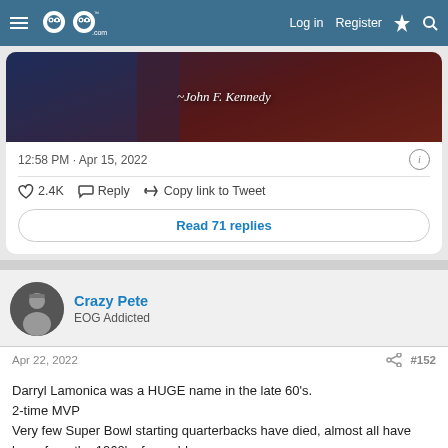EOG (Eyes on Gambling) — Log in  Register
[Figure (photo): Dark-toned image showing a man in a suit with an American flag, with italic text overlay reading '~John F. Kennedy']
12:58 PM · Apr 15, 2022
♡ 2.4K   Reply   Copy link to Tweet
Read 71 replies
Crazy Pete
EOG Addicted
Apr 22, 2022    #152
Darryl Lamonica was a HUGE name in the late 60's.
2-time MVP
Very few Super Bowl starting quarterbacks have died, almost all have been from the 1960's, from old age,
Add Banda to that list.